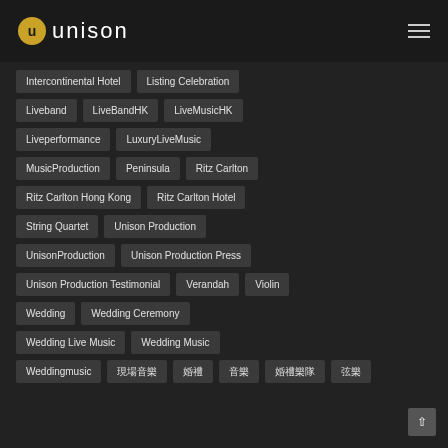Unison
Intercontinental Hotel
Listing Celebration
Liveband
LiveBandHK
LiveMusicHK
Liveperformance
LuxuryLiveMusic
MusicProduction
Peninsula
Ritz Carlton
Ritz Carlton Hong Kong
Ritz Carlton Hotel
String Quartet
Unison Production
UnisonProduction
Unison Production Press
Unison Production Testimonial
Verandah
Violin
Wedding
Wedding Ceremony
Wedding Live Music
Wedding Music
Weddingmusic
現場音樂
婚禮
音樂
婚禮樂隊
弦樂